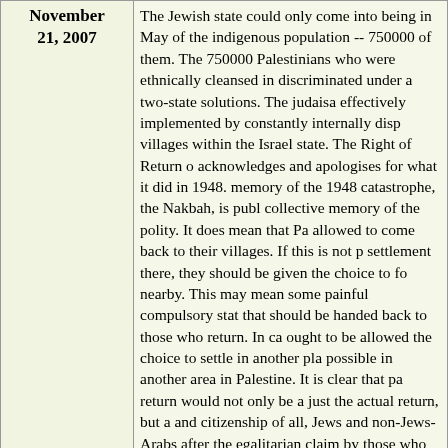| Date | Content |
| --- | --- |
| November 21, 2007 | The Jewish state could only come into being in May of the indigenous population -- 750000 of them. The 750000 Palestinians who were ethnically cleansed in discriminated under a two-state solutions. The judaisa effectively implemented by constantly internally disp villages within the Israel state. The Right of Return o acknowledges and apologises for what it did in 1948. memory of the 1948 catastrophe, the Nakbah, is publ collective memory of the polity. It does mean that Pa allowed to come back to their villages. If this is not p settlement there, they should be given the choice to f nearby. This may mean some painful compulsory stat that should be handed back to those who return. In ca ought to be allowed the choice to settle in another pla possible in another area in Palestine. It is clear that pa return would not only be a just the actual return, but a and citizenship of all, Jews and non-Jews-Arabs after the egalitarian claim by those who return even more c with regard to Israel Arab second class citizens. What Jews behind the call for the recognition of the right o aversion for the possibility of living, as a minority, u to all. But if Jews enjoys this equality in Canada why in Palestine through giving full effect to the right of R |
|  | A World Dying, But Can We U
by Geoffrey Lean  Countercurrents... |